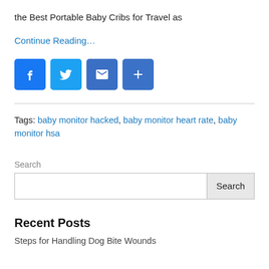the Best Portable Baby Cribs for Travel as
Continue Reading…
[Figure (infographic): Social sharing icons: Facebook, Twitter, Email, and a plus/share button]
Tags: baby monitor hacked, baby monitor heart rate, baby monitor hsa
Search
Recent Posts
Steps for Handling Dog Bite Wounds